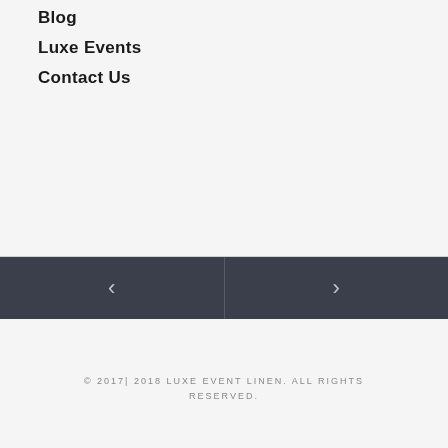Blog
Luxe Events
Contact Us
[Figure (screenshot): Navigation previous and next buttons: left dark panel with left-pointing chevron, right dark panel with right-pointing chevron]
© 2017| 2018 LUXE EVENT LINEN. ALL RIGHTS RESERVED.